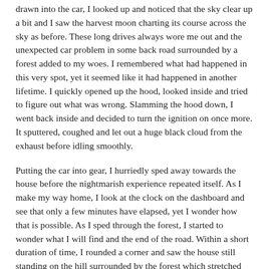drawn into the car, I looked up and noticed that the sky clear up a bit and I saw the harvest moon charting its course across the sky as before. These long drives always wore me out and the unexpected car problem in some back road surrounded by a forest added to my woes. I remembered what had happened in this very spot, yet it seemed like it had happened in another lifetime. I quickly opened up the hood, looked inside and tried to figure out what was wrong. Slamming the hood down, I went back inside and decided to turn the ignition on once more. It sputtered, coughed and let out a huge black cloud from the exhaust before idling smoothly.
Putting the car into gear, I hurriedly sped away towards the house before the nightmarish experience repeated itself. As I make my way home, I look at the clock on the dashboard and see that only a few minutes have elapsed, yet I wonder how that is possible. As I sped through the forest, I started to wonder what I will find and the end of the road. Within a short duration of time, I rounded a corner and saw the house still standing on the hill surrounded by the forest which stretched from one horizon to the next. It was as if nothing